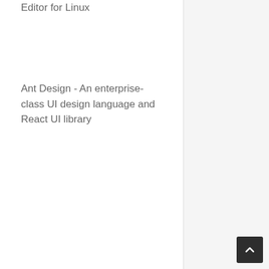Editor for Linux
Ant Design - An enterprise-class UI design language and React UI library
Prisma - Next-generation ORM for Node.js and TypeScript